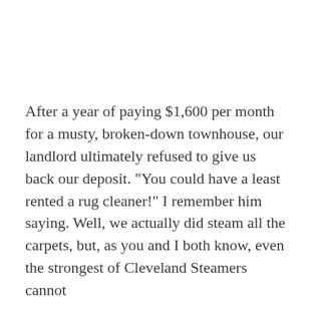After a year of paying $1,600 per month for a musty, broken-down townhouse, our landlord ultimately refused to give us back our deposit. "You could have a least rented a rug cleaner!" I remember him saying. Well, we actually did steam all the carpets, but, as you and I both know, even the strongest of Cleveland Steamers cannot